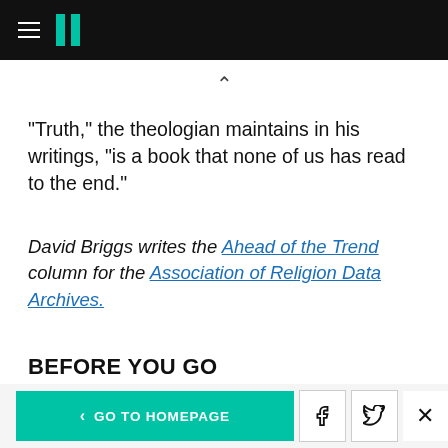HuffPost (header navigation bar)
"Truth," the theologian maintains in his writings, "is a book that none of us has read to the end."
David Briggs writes the Ahead of the Trend column for the Association of Religion Data Archives.
BEFORE YOU GO
< GO TO HOMEPAGE